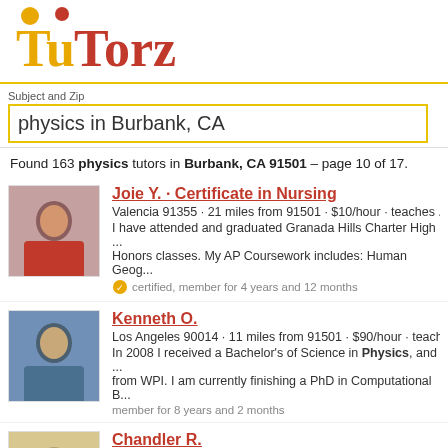[Figure (logo): TuTorz logo with yellow 'Tu' and red 'Torz' text, yellow circle above T, red circle accent]
Subject and Zip
physics in Burbank, CA
Found 163 physics tutors in Burbank, CA 91501 – page 10 of 17.
Joie Y. · Certificate in Nursing
Valencia 91355 · 21 miles from 91501 · $10/hour · teaches ...
I have attended and graduated Granada Hills Charter High ... Honors classes. My AP Coursework includes: Human Geog...
certified, member for 4 years and 12 months
Kenneth O.
Los Angeles 90014 · 11 miles from 91501 · $90/hour · teach...
In 2008 I received a Bachelor's of Science in Physics, and ... from WPI. I am currently finishing a PhD in Computational B...
member for 8 years and 2 months
Chandler R.
Culver City 90230 · 16 miles from 91501 · $100/hour · teach...